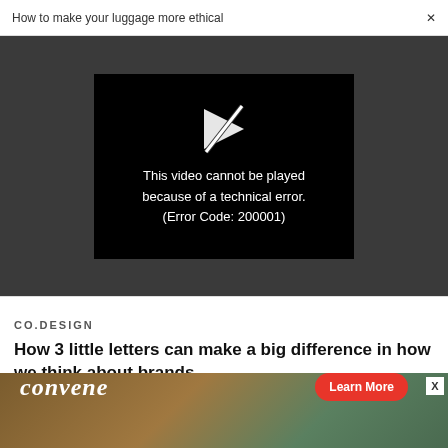How to make your luggage more ethical  ×
[Figure (screenshot): Video player showing error message: 'This video cannot be played because of a technical error. (Error Code: 200001)' on dark background with broken play button icon]
CO.DESIGN
How 3 little letters can make a big difference in how we think about brands
WORK LIFE
[Figure (photo): Advertisement banner for 'convene' showing people in a meeting/workspace setting with a red 'Learn More' button]